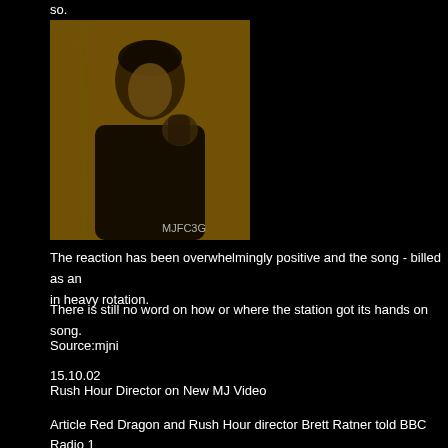so.
[Figure (photo): A yellow-tinted photo of Michael Jackson with a raised fist, wearing a black jacket. Watermark reads 'MJFC3G' in the bottom right corner.]
The reaction has been overwhelmingly positive and the song - billed as an in heavy rotation.
There is still no word on how or where the station got its hands on song.
Source:mjni
15.10.02
Rush Hour Director on New MJ Video
Article Red Dragon and Rush Hour director Brett Ratner told BBC Radio 1 asked him to direct the music video for Invincible, which Ratner says is the not known exactly when the interview took place (pre or post Sony battle)